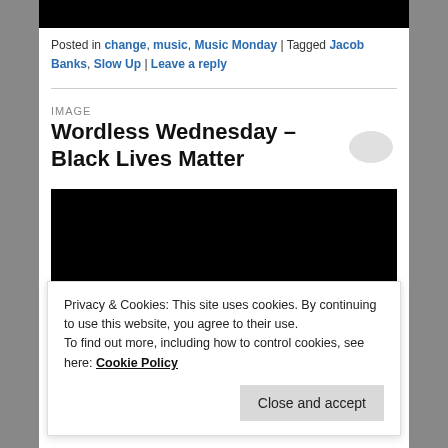[Figure (photo): Black image bar at top]
Posted in change, music, Music Monday | Tagged Jacob Banks, Slow Up | Leave a reply
IMAGE
Wordless Wednesday – Black Lives Matter
[Figure (photo): Large black image rectangle]
Privacy & Cookies: This site uses cookies. By continuing to use this website, you agree to their use.
To find out more, including how to control cookies, see here: Cookie Policy
Close and accept